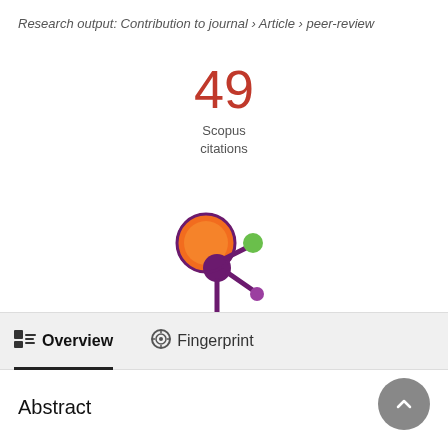Research output: Contribution to journal › Article › peer-review
49
Scopus
citations
[Figure (logo): Altmetric donut-style logo with orange circle, purple splatter shape, green dot, and purple dot]
Overview
Fingerprint
Abstract